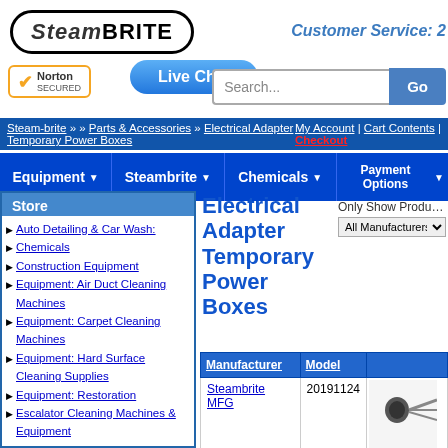[Figure (logo): Steam-Brite logo in rounded rectangle border]
Customer Service: 2
[Figure (logo): Norton Secured badge with checkmark]
[Figure (other): Live Chat button in blue gradient]
Search...  Go
Steam-brite » » Parts & Accessories » Electrical Adapter Temporary Power Boxes   My Account | Cart Contents | Checkout
Equipment  Steambrite  Chemicals  Payment Options
Store
Auto Detailing & Car Wash:
Chemicals
Construction Equipment
Equipment: Air Duct Cleaning Machines
Equipment: Carpet Cleaning Machines
Equipment: Hard Surface Cleaning Supplies
Equipment: Restoration
Escalator Cleaning Machines & Equipment
Generators Electrical
Janitorial Supplies Sanitorial
Miscellaneous
Parts & Accessories
Bags, Belts & Magnets
Battery Chargers And Batteries
Blowers and Vacuum Pumps
Bottles
Brass, Plastic, Steel, Stainless Hydraulic Fittings
Electrical Adapter Temporary Power Boxes
Only Show Products By: All Manufacturers
| Manufacturer | Model |  |
| --- | --- | --- |
| Steambrite MFG | 20191124 |  |